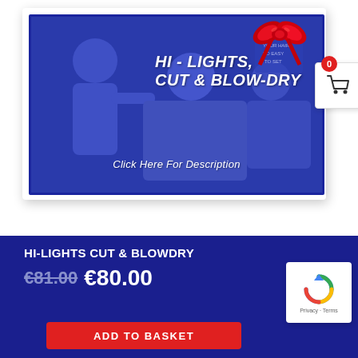[Figure (photo): A barbershop promotional image with a dark blue/purple overlay showing two men getting haircuts in a vintage barber setting. White bold italic text reads 'HI - LIGHTS, CUT & BLOW-DRY'. Below in italic white text: 'Click Here For Description'. A red ribbon/bow gift decoration is in the top right corner. A shopping cart icon with a red badge showing '0' is visible on the right.]
HI-LIGHTS CUT & BLOWDRY
€81.00 €80.00
ADD TO BASKET